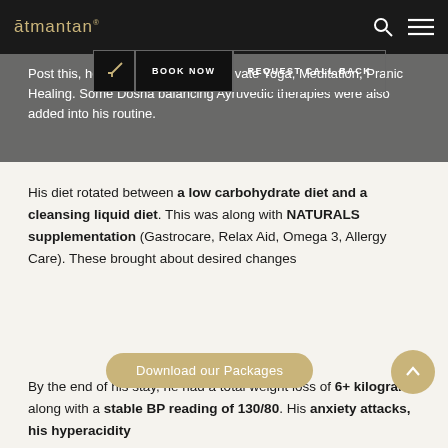ātmantan
Post this, he was then started on private Yoga, Meditation, Pranic Healing. Some Dosha balancing Ayruvedic therapies were also added into his routine.
His diet rotated between a low carbohydrate diet and a cleansing liquid diet. This was along with NATURALS supplementation (Gastrocare, Relax Aid, Omega 3, Allergy Care). These brought about desired changes
By the end of his stay, he had a total weight loss of 6+ kilograms along with a stable BP reading of 130/80. His anxiety attacks, his hyperacidity